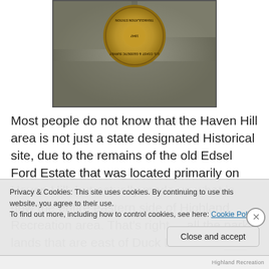[Figure (photo): Close-up photograph of a U.S. Coast & Geodetic Survey benchmark medallion embedded in rock, viewed upside-down. The brass disk shows circular text and a central design, surrounded by grey rocky surface.]
Most people do not know that the Haven Hill area is not just a state designated Historical site, due to the remains of the old Edsel Ford Estate that was located primarily on Haven Hill, but actually made up what is now the entire eastern side of Highland Recreation area. That's right.....all the park lands that are east of Duck Lake road was once the boundaries of the Ford Estate there, with the
Privacy & Cookies: This site uses cookies. By continuing to use this website, you agree to their use.
To find out more, including how to control cookies, see here: Cookie Policy
Close and accept